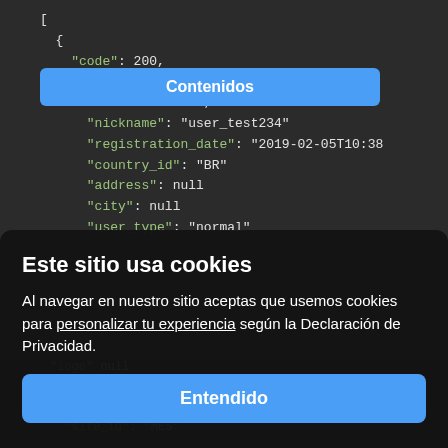[Figure (screenshot): Dark-themed code editor showing JSON with keys like code, body, id, nickname, registration_date, user_type. A blue 'Contenidos' navigation button overlays the top portion.]
Este sitio usa cookies
Al navegar en nuestro sitio aceptas que usemos cookies para personalizar tu experiencia según la Declaración de Privacidad.
Entendido
Configurar cookies